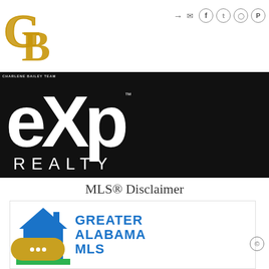[Figure (logo): Charlene Bailey Team GB gold monogram logo in top-left corner]
[Figure (logo): Social media icons (login, email, Facebook, Twitter, Instagram, Pinterest) and hamburger menu button in top-right area]
[Figure (logo): eXp Realty logo on black background band — large white 'eXp' letters with 'REALTY' below]
MLS® Disclaimer
[Figure (logo): Greater Alabama MLS logo — blue house icon with 'GREATER ALABAMA MLS' text in blue]
[Figure (other): Gold chat bubble button with three white dots]